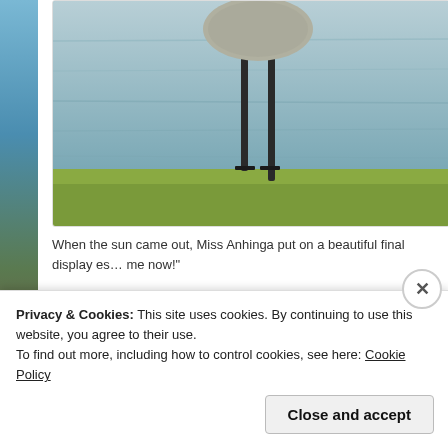[Figure (photo): A tall wading bird (likely a sandhill crane or similar) with long dark legs standing on green grass near water. The bird's body and legs are visible from mid-body down. Gray water is in the background.]
When the sun came out, Miss Anhinga put on a beautiful final display es... me now!"
[Figure (photo): A bird (Anhinga) with its neck and beak pointed upward, partially submerged or near water, with blue rippling water in the background.]
Privacy & Cookies: This site uses cookies. By continuing to use this website, you agree to their use.
To find out more, including how to control cookies, see here: Cookie Policy
Close and accept